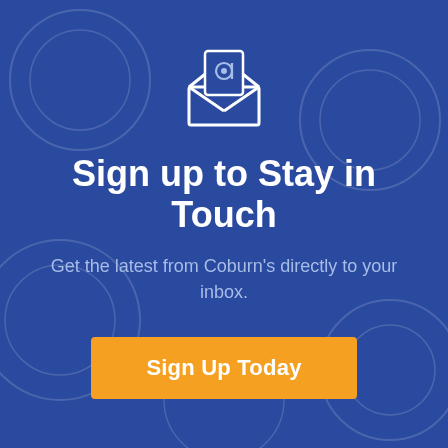[Figure (illustration): Envelope icon with @ symbol, white outline style on blue background]
Sign up to Stay in Touch
Get the latest from Coburn's directly to your inbox.
Sign Up Today